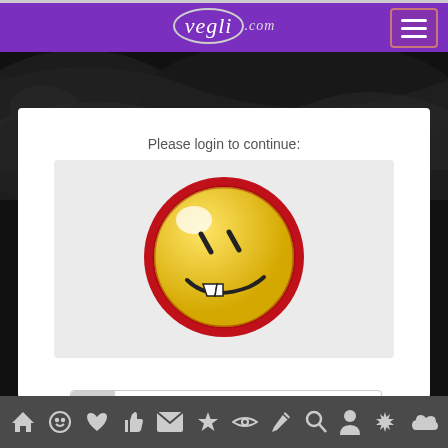[Figure (screenshot): Website header with purple background showing 'vegli.com' logo in italic white text with circular border, and hamburger menu button on the right with pink/red border]
[Figure (photo): Dark background image showing what appears to be a dark fantasy/creature scene in black and white]
Please login to continue:
[Figure (illustration): Evil smiley face icon: yellow circular face with red border, showing two slash-mark eyes, a smirk mouth with visible teeth, and a highlight glare spot in the upper left]
[Figure (screenshot): Username input field with gray icon area on left and placeholder text 'Username :']
Bottom navigation toolbar with icons: home, smiley, heart, thumbs-up, envelope, star, eye, pencil, search, person, burst/flower, cloud